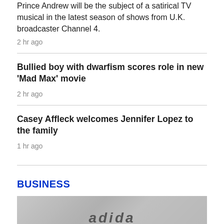Prince Andrew will be the subject of a satirical TV musical in the latest season of shows from U.K. broadcaster Channel 4.
2 hr ago
Bullied boy with dwarfism scores role in new 'Mad Max' movie
2 hr ago
Casey Affleck welcomes Jennifer Lopez to the family
1 hr ago
BUSINESS
[Figure (photo): Image showing people in front of an Adidas logo sign]